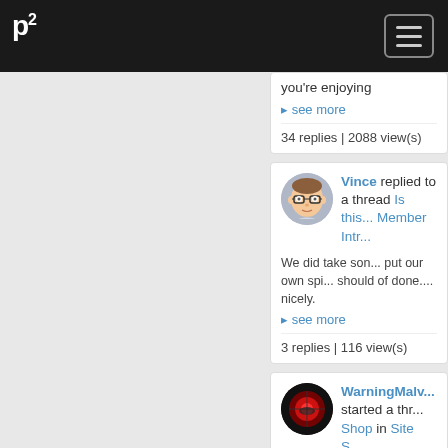p² [navigation bar with hamburger menu]
you're enjoying
▸ see more
34 replies | 2088 view(s)
Vince replied to a thread Is this... Member Intr...
We did take som... put our own spi... should of done.... nicely.
▸ see more
3 replies | 116 view(s)
WarningMalv... started a thr... Shop in Site S...